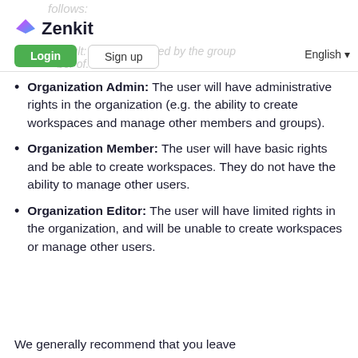Zenkit — Login / Sign up — English
Organization Admin: The user will have administrative rights in the organization (e.g. the ability to create workspaces and manage other members and groups).
Organization Member: The user will have basic rights and be able to create workspaces. They do not have the ability to manage other users.
Organization Editor: The user will have limited rights in the organization, and will be unable to create workspaces or manage other users.
We generally recommend that you leave